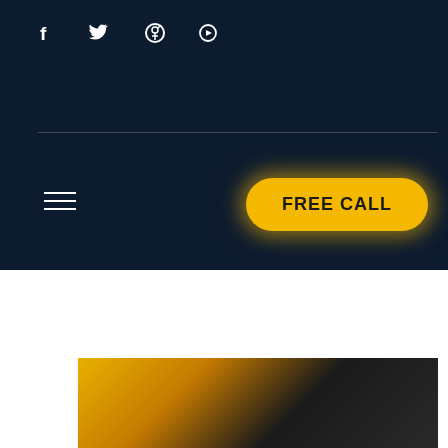Social icons: Facebook, Twitter, Pinterest, Vimeo
[Figure (screenshot): Navigation bar with hamburger menu, search icon, and FREE CALL yellow button with glow effect on dark navy background]
[Figure (photo): Partial photo showing yellow and black industrial/mechanical equipment, partially visible at bottom of page]